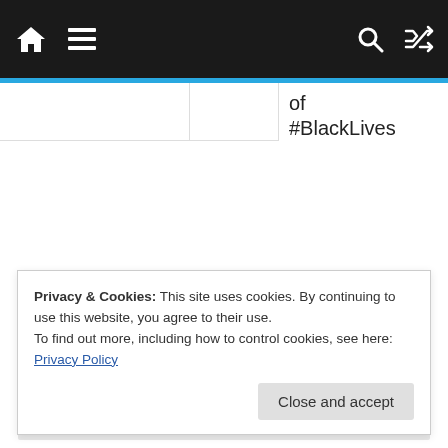Navigation bar with home, menu, search, and shuffle icons
of #BlackLivesMatter protests
13/06/2020
Advertisement
Privacy & Cookies: This site uses cookies. By continuing to use this website, you agree to their use.
To find out more, including how to control cookies, see here: Privacy Policy
Close and accept